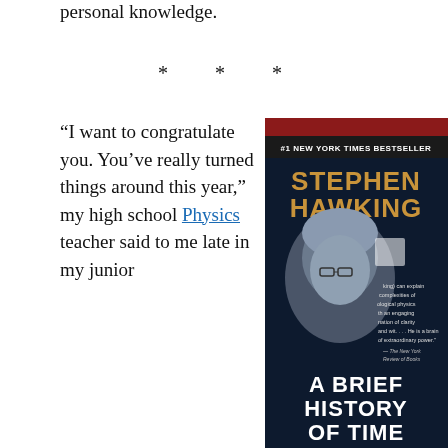personal knowledge.
* * *
“I want to congratulate you. You’ve really turned things around this year,” my high school Physics teacher said to me late in my junior
[Figure (photo): Book cover of 'A Brief History of Time' by Stephen Hawking, labeled '#1 New York Times Bestseller'. Shows a photo of Stephen Hawking on the cover with gold and white text.]